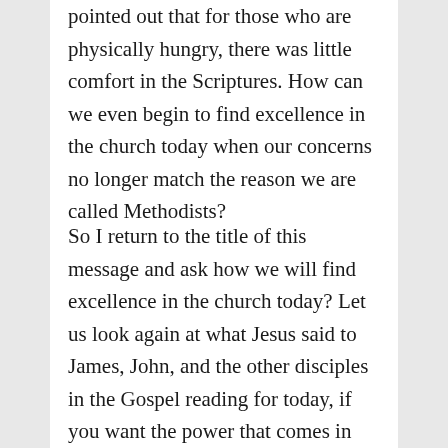pointed out that for those who are physically hungry, there was little comfort in the Scriptures. How can we even begin to find excellence in the church today when our concerns no longer match the reason we are called Methodists?
So I return to the title of this message and ask how we will find excellence in the church today? Let us look again at what Jesus said to James, John, and the other disciples in the Gospel reading for today, if you want the power that comes in God’s Kingdom, you have to get your hands dirty. You have to go out and serve those whom you would lead. And if you are not willing to do that in some